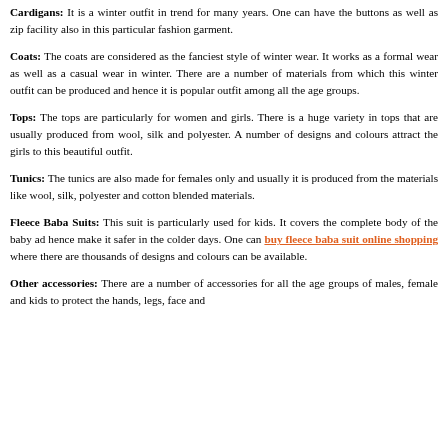Cardigans: It is a winter outfit in trend for many years. One can have the buttons as well as zip facility also in this particular fashion garment.
Coats: The coats are considered as the fanciest style of winter wear. It works as a formal wear as well as a casual wear in winter. There are a number of materials from which this winter outfit can be produced and hence it is popular outfit among all the age groups.
Tops: The tops are particularly for women and girls. There is a huge variety in tops that are usually produced from wool, silk and polyester. A number of designs and colours attract the girls to this beautiful outfit.
Tunics: The tunics are also made for females only and usually it is produced from the materials like wool, silk, polyester and cotton blended materials.
Fleece Baba Suits: This suit is particularly used for kids. It covers the complete body of the baby ad hence make it safer in the colder days. One can buy fleece baba suit online shopping where there are thousands of designs and colours can be available.
Other accessories: There are a number of accessories for all the age groups of males, female and kids to protect the hands, legs, face and